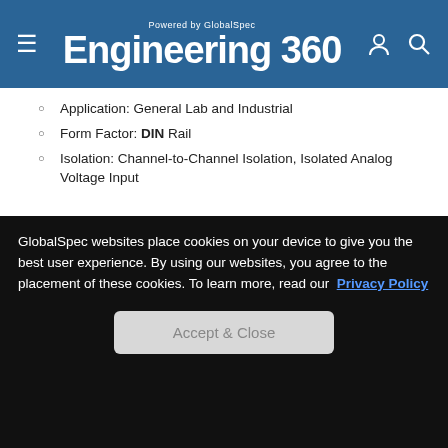Engineering 360 – Powered by GlobalSpec
Application: General Lab and Industrial
Form Factor: DIN Rail
Isolation: Channel-to-Channel Isolation, Isolated Analog Voltage Input
Supplier Catalog | Go To Website | Datasheet (buttons)
[Figure (photo): Photo of Terminal Blocks 100-pin SCSI DIN-rail Wiring Board ADAM-3956, green PCB with connectors]
Terminal Blocks - 100-pin SCSI DIN-rail Wiring Board -- ADAM-3956
Supplier: Advantech
Description: Mitsubishi J3S and Delta A2 servo
GlobalSpec websites place cookies on your device to give you the best user experience. By using our websites, you agree to the placement of these cookies. To learn more, read our Privacy Policy
Accept & Close